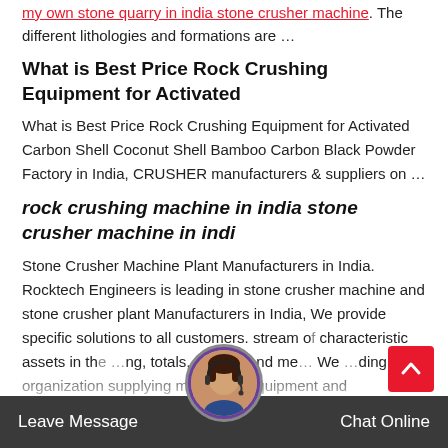my own stone quarry in india stone crusher machine. The different lithologies and formations are …
What is Best Price Rock Crushing Equipment for Activated
What is Best Price Rock Crushing Equipment for Activated Carbon Shell Coconut Shell Bamboo Carbon Black Powder Factory in India, CRUSHER manufacturers & suppliers on …
rock crushing machine in india stone crusher machine in indi
Stone Crusher Machine Plant Manufacturers in India. Rocktech Engineers is leading in stone crusher machine and stone crusher plant Manufacturers in India, We provide specific solutions to all customers. stream of characteristic assets in the …ng, totals, reusing and me… We …ding en… organization supplying machines, equipment and
Leave Message   Chat Online